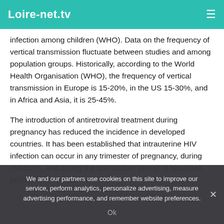Loire-net.tv
infection among children (WHO). Data on the frequency of vertical transmission fluctuate between studies and among population groups. Historically, according to the World Health Organisation (WHO), the frequency of vertical transmission in Europe is 15-20%, in the US 15-30%, and in Africa and Asia, it is 25-45%.
The introduction of antiretroviral treatment during pregnancy has reduced the incidence in developed countries. It has been established that intrauterine HIV infection can occur in any trimester of pregnancy, during childbirth, and during the postpartum period. It has been proven that HIV can be
We and our partners use cookies on this site to improve our service, perform analytics, personalize advertising, measure advertising performance, and remember website preferences.